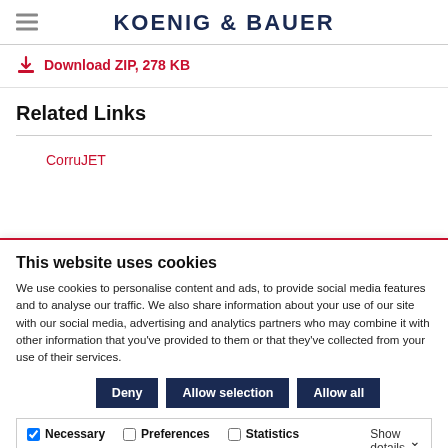KOENIG & BAUER
Download ZIP, 278 KB
Related Links
CorruJET
This website uses cookies
We use cookies to personalise content and ads, to provide social media features and to analyse our traffic. We also share information about your use of our site with our social media, advertising and analytics partners who may combine it with other information that you've provided to them or that they've collected from your use of their services.
Deny | Allow selection | Allow all
Necessary | Preferences | Statistics | Marketing | Show details